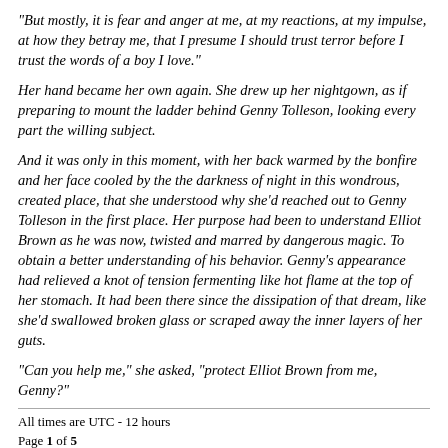"But mostly, it is fear and anger at me, at my reactions, at my impulse, at how they betray me, that I presume I should trust terror before I trust the words of a boy I love."
Her hand became her own again. She drew up her nightgown, as if preparing to mount the ladder behind Genny Tolleson, looking every part the willing subject.
And it was only in this moment, with her back warmed by the bonfire and her face cooled by the the darkness of night in this wondrous, created place, that she understood why she'd reached out to Genny Tolleson in the first place. Her purpose had been to understand Elliot Brown as he was now, twisted and marred by dangerous magic. To obtain a better understanding of his behavior. Genny's appearance had relieved a knot of tension fermenting like hot flame at the top of her stomach. It had been there since the dissipation of that dream, like she'd swallowed broken glass or scraped away the inner layers of her guts.
"Can you help me," she asked, "protect Elliot Brown from me, Genny?"
All times are UTC - 12 hours
Page 1 of 5
Powered by phpBB® Forum Software © phpBB Group